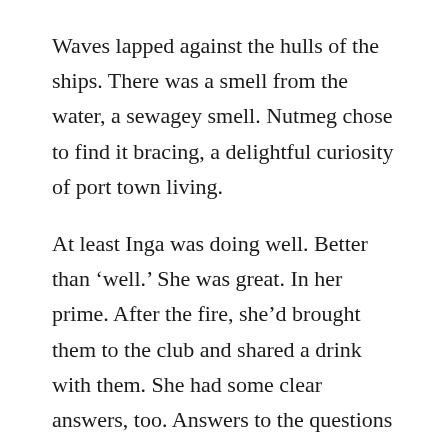Waves lapped against the hulls of the ships. There was a smell from the water, a sewagey smell. Nutmeg chose to find it bracing, a delightful curiosity of port town living.
At least Inga was doing well. Better than ‘well.’ She was great. In her prime. After the fire, she’d brought them to the club and shared a drink with them. She had some clear answers, too. Answers to the questions which Denzel had posed. Denzel. What a dumbfuck. Inga wasn’t some Sohorriskan agent. She was just a cool broad who did rad shit. And this time, well, that included talking to the gators.
“The Khatchakkanak tribe,” she’d said. “They was tradin’ with the lighthouse folk. I kept in touch – been